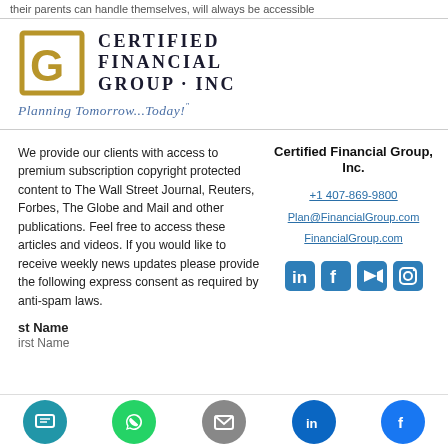their parents can handle themselves, will always be accessible
[Figure (logo): Certified Financial Group Inc logo with gold bracket-G icon and tagline 'Planning Tomorrow...Today!']
We provide our clients with access to premium subscription copyright protected content to The Wall Street Journal, Reuters, Forbes, The Globe and Mail and other publications. Feel free to access these articles and videos. If you would like to receive weekly news updates please provide the following express consent as required by anti-spam laws.
Certified Financial Group, Inc.
+1 407-869-9800
Plan@FinancialGroup.com
FinancialGroup.com
First Name
First Name